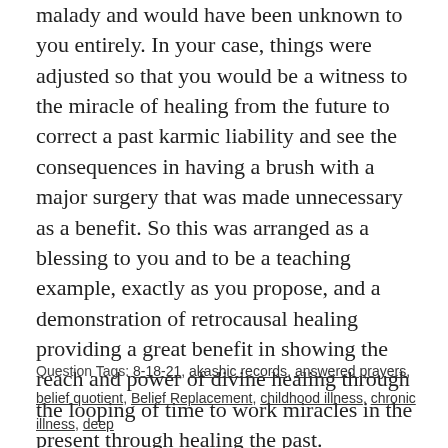malady and would have been unknown to you entirely. In your case, things were adjusted so that you would be a witness to the miracle of healing from the future to correct a past karmic liability and see the consequences in having a brush with a major surgery that was made unnecessary as a benefit. So this was arranged as a blessing to you and to be a teaching example, exactly as you propose, and a demonstration of retrocausal healing providing a great benefit in showing the reach and power of divine healing through the looping of time to work miracles in the present through healing the past.
Question Tags: 8-18-21, akashic records, answered prayers, belief quotient, Belief Replacement, childhood illness, chronic illness, deep